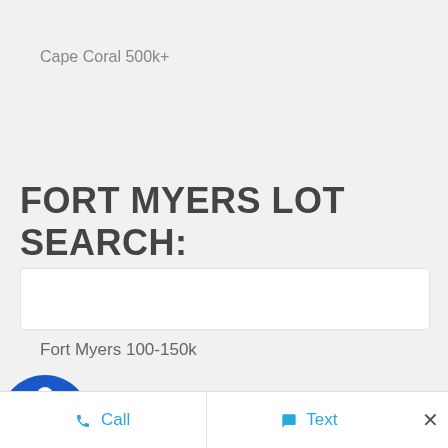Cape Coral 500k+
FORT MYERS LOT SEARCH:
Fort Myers 100-150k
Fort Myers 150-200k
Myers 200-250k
[Figure (logo): Blue circular accessibility icon with person in wheelchair]
Call   Text   ×